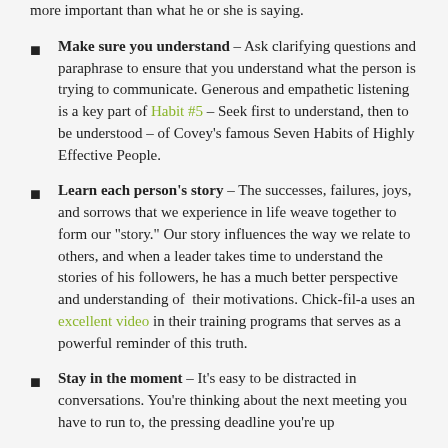more important than what he or she is saying.
Make sure you understand – Ask clarifying questions and paraphrase to ensure that you understand what the person is trying to communicate. Generous and empathetic listening is a key part of Habit #5 – Seek first to understand, then to be understood – of Covey's famous Seven Habits of Highly Effective People.
Learn each person's story – The successes, failures, joys, and sorrows that we experience in life weave together to form our "story." Our story influences the way we relate to others, and when a leader takes time to understand the stories of his followers, he has a much better perspective and understanding of their motivations. Chick-fil-a uses an excellent video in their training programs that serves as a powerful reminder of this truth.
Stay in the moment – It's easy to be distracted in conversations. You're thinking about the next meeting you have to run to, the pressing deadline you're up